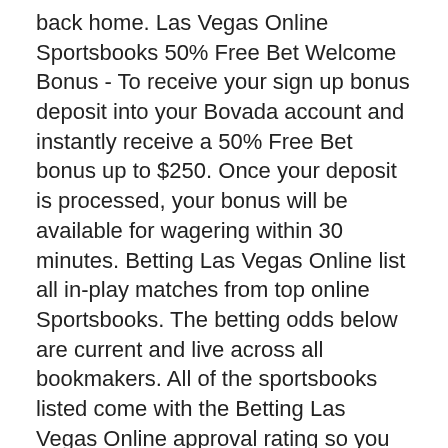back home. Las Vegas Online Sportsbooks 50% Free Bet Welcome Bonus - To receive your sign up bonus deposit into your Bovada account and instantly receive a 50% Free Bet bonus up to $250. Once your deposit is processed, your bonus will be available for wagering within 30 minutes. Betting Las Vegas Online list all in-play matches from top online Sportsbooks. The betting odds below are current and live across all bookmakers. All of the sportsbooks listed come with the Betting Las Vegas Online approval rating so you know your funds are safe.
Dagens bästa speltips på fotboll och hockey. Stryktipset, Europatipset, Topptipset och travtips på V75, V86, V64 mm. Sveriges bästa online casinon på nätet | Spela över 800 spelautomater och slots